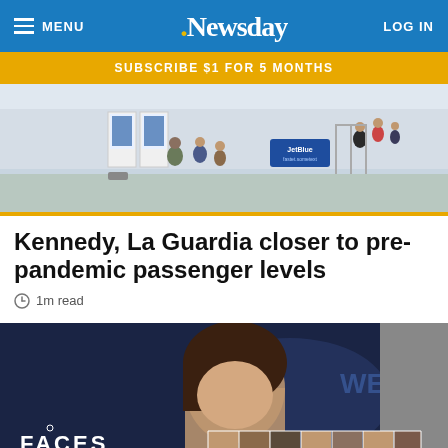MENU | Newsday | LOG IN
SUBSCRIBE $1 FOR 5 MONTHS
[Figure (photo): Airport terminal interior with passengers checking in and walking through concourse]
Kennedy, La Guardia closer to pre-pandemic passenger levels
1m read
[Figure (photo): Woman speaking at podium with 'WE A' text visible, overlaid with Faces of Long Island grid of portrait photos]